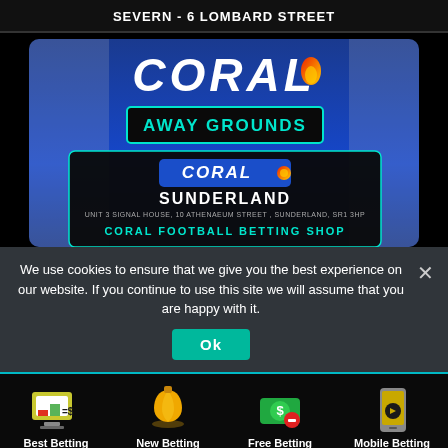SEVERN - 6 LOMBARD STREET
[Figure (photo): Coral betting shop storefront showing blue exterior with CORAL logo, overlaid with Away Grounds badge and a Coral info card showing Sunderland shop details: UNIT 3 SIGNAL HOUSE, 10 ATHENAEUM STREET, SUNDERLAND, SR1 3HP — CORAL FOOTBALL BETTING SHOP]
We use cookies to ensure that we give you the best experience on our website. If you continue to use this site we will assume that you are happy with it.
Ok
Best Betting Sites
New Betting Sites
Free Betting Sites
Mobile Betting Sites